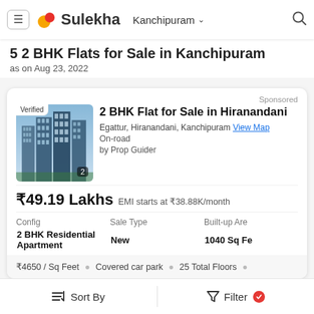Sulekha · Kanchipuram
5 2 BHK Flats for Sale in Kanchipuram
as on Aug 23, 2022
Sponsored
2 BHK Flat for Sale in Hiranandani
Egattur, Hiranandani, Kanchipuram  View Map
On-road
by Prop Guider
₹49.19 Lakhs   EMI starts at ₹38.88K/month
| Config | Sale Type | Built-up Area |
| --- | --- | --- |
| 2 BHK Residential Apartment | New | 1040 Sq Fe |
₹4650 / Sq Feet  •  Covered car park  •  25 Total Floors  •
Sort By   Filter